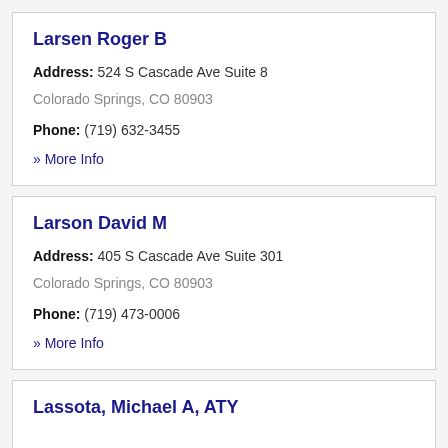Larsen Roger B
Address: 524 S Cascade Ave Suite 8
Colorado Springs, CO 80903
Phone: (719) 632-3455
» More Info
Larson David M
Address: 405 S Cascade Ave Suite 301
Colorado Springs, CO 80903
Phone: (719) 473-0006
» More Info
Lassota, Michael A, ATY